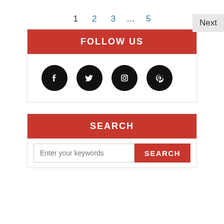1  2  3  …  5  Next
FOLLOW US
[Figure (illustration): Four social media icons: Facebook, Twitter, Instagram, Pinterest — all black circles with white icons]
SEARCH
Enter your keywords  SEARCH